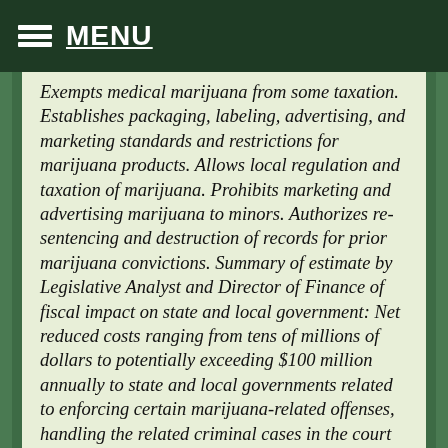MENU
Exempts medical marijuana from some taxation. Establishes packaging, labeling, advertising, and marketing standards and restrictions for marijuana products. Allows local regulation and taxation of marijuana. Prohibits marketing and advertising marijuana to minors. Authorizes re-sentencing and destruction of records for prior marijuana convictions. Summary of estimate by Legislative Analyst and Director of Finance of fiscal impact on state and local government: Net reduced costs ranging from tens of millions of dollars to potentially exceeding $100 million annually to state and local governments related to enforcing certain marijuana-related offenses, handling the related criminal cases in the court system, and